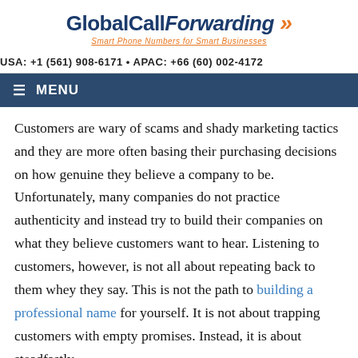[Figure (logo): GlobalCallForwarding logo with tagline 'Smart Phone Numbers for Smart Businesses' and orange double-arrow icon]
USA: +1 (561) 908-6171 • APAC: +66 (60) 002-4172
≡ MENU
Customers are wary of scams and shady marketing tactics and they are more often basing their purchasing decisions on how genuine they believe a company to be. Unfortunately, many companies do not practice authenticity and instead try to build their companies on what they believe customers want to hear. Listening to customers, however, is not all about repeating back to them whey they say. This is not the path to building a professional name for yourself. It is not about trapping customers with empty promises. Instead, it is about steadfastly